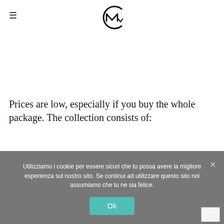[Figure (logo): CMW circular logo with stylized M inside a C shape]
Prices are low, especially if you buy the whole package. The collection consists of:
Utilizziamo i cookie per essere sicuri che tu possa avere la migliore esperienza sul nostro sito. Se continui ad utilizzare questo sito noi assumiamo che tu ne sia felice.
Ok